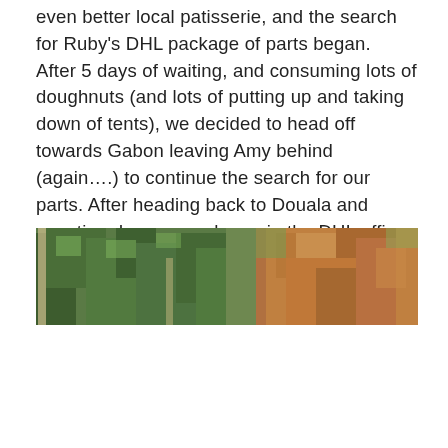even better local patisserie, and the search for Ruby's DHL package of parts began.  After 5 days of waiting, and consuming lots of doughnuts (and lots of putting up and taking down of tents), we decided to head off towards Gabon leaving Amy behind (again….) to continue the search for our parts. After heading back to Douala and counting down many hours in the DHL office she finally took delivery of the much-needed parts.
[Figure (photo): A landscape photograph showing dense green foliage and trees on the left side, with a reddish-brown earthy cliff or hillside on the right side. The image appears to be taken outdoors in a tropical or subtropical setting.]